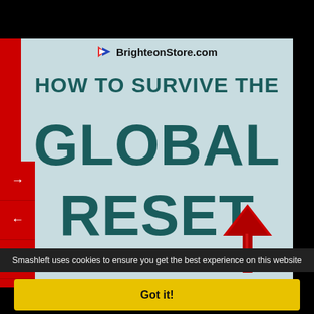[Figure (screenshot): Screenshot of BrighteonStore.com webpage showing book/product titled 'HOW TO SURVIVE THE GLOBAL RESET' with teal bold text on a light blue-gray background. Red navigation arrows on the left side. A large red upward arrow in the bottom right of the image area.]
Smashleft uses cookies to ensure you get the best experience on this website
Got it!